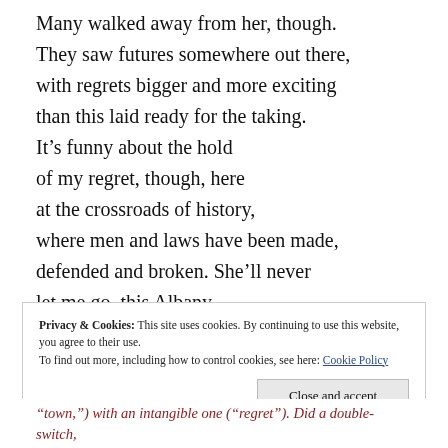Many walked away from her, though.
They saw futures somewhere out there,
with regrets bigger and more exciting
than this laid ready for the taking.
It’s funny about the hold
of my regret, though, here
at the crossroads of history,
where men and laws have been made,
defended and broken. She’ll never
let me go, this Albany,
my town, my regret.
Privacy & Cookies: This site uses cookies. By continuing to use this website, you agree to their use.
To find out more, including how to control cookies, see here: Cookie Policy
“town,”) with an intangible one (“regret”). Did a double-switch,